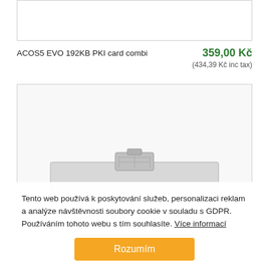[Figure (photo): Top product image box (cropped/empty white box with border)]
ACOS5 EVO 192KB PKI card combi
359,00 Kč (434,39 Kč inc tax)
[Figure (photo): Second product image box showing bottom portion of a SIM/smart card chip]
Tento web používá k poskytování služeb, personalizaci reklam a analýze návštěvnosti soubory cookie v souladu s GDPR. Používáním tohoto webu s tím souhlasíte. Více informací
Rozumím